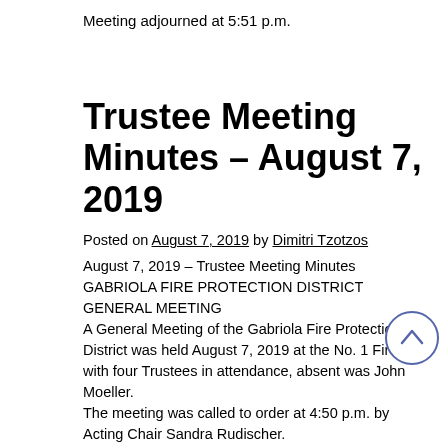Meeting adjourned at 5:51 p.m.
Trustee Meeting Minutes – August 7, 2019
Posted on August 7, 2019 by Dimitri Tzotzos
August 7, 2019 – Trustee Meeting Minutes
GABRIOLA FIRE PROTECTION DISTRICT
GENERAL MEETING
A General Meeting of the Gabriola Fire Protection District was held August 7, 2019 at the No. 1 Fire Hall with four Trustees in attendance, absent was John Moeller.
The meeting was called to order at 4:50 p.m. by Acting Chair Sandra Rudischer.
The Chair stated that she would like to re-affirm that her position as Chair...